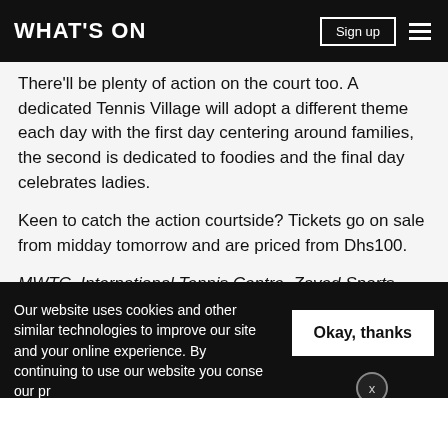WHAT'S ON
There'll be plenty of action on the court too. A dedicated Tennis Village will adopt a different theme each day with the first day centering around families, the second is dedicated to foodies and the final day celebrates ladies.
Keen to catch the action courtside? Tickets go on sale from midday tomorrow and are priced from Dhs100.
MWTC, International Tennis Centre, Zayed Sports City, Abu Dhabi, December 27 to 29, from Dhs100. Tel: (800) 86 823. ticketmaster.ae
Our website uses cookies and other similar technologies to improve our site and your online experience. By continuing to use our website you consent our pr